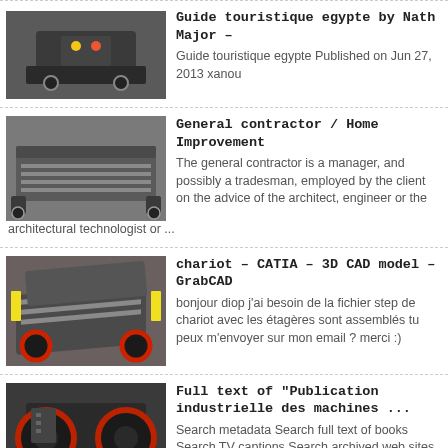[Figure (photo): Industrial machine/crusher equipment, dark gray, top-left thumbnail]
Guide touristique egypte by Nath Major –
Guide touristique egypte Published on Jun 27, 2013 xanou
[Figure (photo): Industrial conveyor or vibration screen equipment, gray metal, second thumbnail]
General contractor / Home Improvement
The general contractor is a manager, and possibly a tradesman, employed by the client on the advice of the architect, engineer or the architectural technologist or ...
[Figure (photo): Industrial chariot/cart equipment with red wheels, third thumbnail]
chariot – CATIA – 3D CAD model – GrabCAD
bonjour diop j'ai besoin de la fichier step de chariot avec les étagères sont assemblés tu peux m'envoyer sur mon email ? merci :)
[Figure (photo): Industrial jaw crusher machine, black/dark, fourth thumbnail]
Full text of "Publication industrielle des machines ...
Search metadata Search full text of books Search TV captions Search archived web sites Advanced Search
[Figure (photo): Industrial/warehouse equipment, blue tones, fifth thumbnail (partial)]
General contractor / Home Improvement
The general contractor is a manager, and